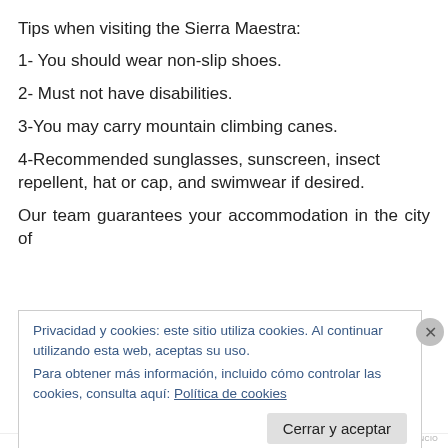Tips when visiting the Sierra Maestra:
1- You should wear non-slip shoes.
2- Must not have disabilities.
3-You may carry mountain climbing canes.
4-Recommended sunglasses, sunscreen, insect repellent, hat or cap, and swimwear if desired.
Our team guarantees your accommodation in the city of
Privacidad y cookies: este sitio utiliza cookies. Al continuar utilizando esta web, aceptas su uso.
Para obtener más información, incluido cómo controlar las cookies, consulta aquí: Política de cookies
Cerrar y aceptar